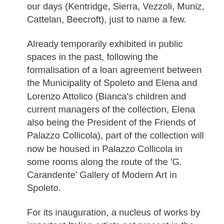our days (Kentridge, Sierra, Vezzoli, Muniz, Cattelan, Beecroft), just to name a few.
Already temporarily exhibited in public spaces in the past, following the formalisation of a loan agreement between the Municipality of Spoleto and Elena and Lorenzo Attolico (Bianca's children and current managers of the collection, Elena also being the President of the Friends of Palazzo Collicola), part of the collection will now be housed in Palazzo Collicola in some rooms along the route of the 'G. Carandente' Gallery of Modern Art in Spoleto.
For its inauguration, a nucleus of works by important Italian artists not present in the museum's permanent collection was